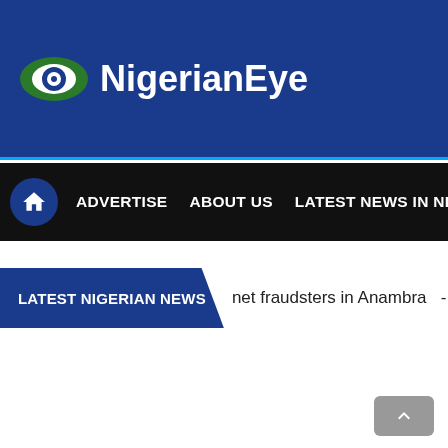[Figure (logo): NigerianEye logo: green eye shape with white pupil and 'NigerianEye' text in white on dark blue banner background]
ADVERTISE   ABOUT US   LATEST NEWS IN NIGERIA   PO...
LATEST NIGERIAN NEWS
net fraudsters in Anambra  -